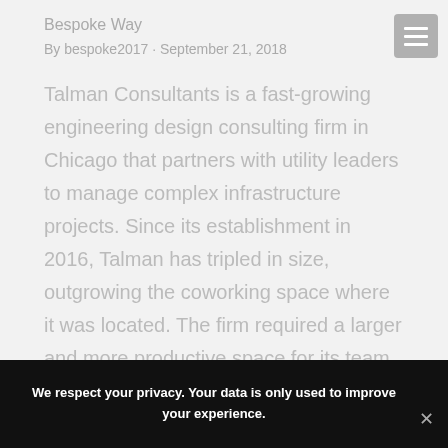Bespoke Way
By bespoke2017 · September 21, 2018
Talman Consultants is a fast-growing engineering design consulting firm in Chicago that partners with utility leaders to manage complex infrastructure projects. Since its establishment in 2016, Talman has tripled in size, outgrowing the coworking space where it was located. The firm required a larger and more productive space for its team and one that
We respect your privacy. Your data is only used to improve your experience.